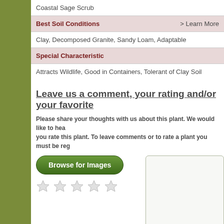| Coastal Sage Scrub |
| Best Soil Conditions | > Learn More |
| Clay, Decomposed Granite, Sandy Loam, Adaptable |
| Special Characteristic |
| Attracts Wildlife, Good in Containers, Tolerant of Clay Soil |
Leave us a comment, your rating and/or your favorite
Please share your thoughts with us about this plant. We would like to hear you rate this plant. To leave comments or to rate a plant you must be reg
[Figure (other): Browse for Images button (green rounded rectangle button)]
[Figure (other): Five empty star rating icons]
[Figure (other): Text area input box]
Comments
No comments for this plant.